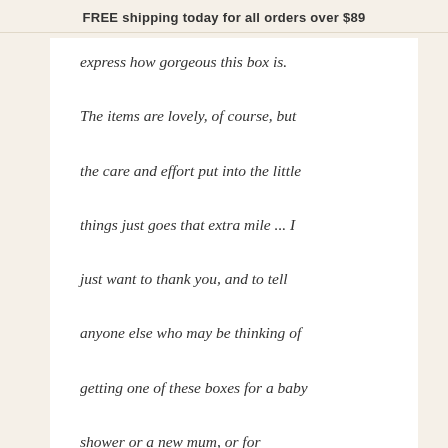FREE shipping today for all orders over $89
express how gorgeous this box is. The items are lovely, of course, but the care and effort put into the little things just goes that extra mile ... I just want to thank you, and to tell anyone else who may be thinking of getting one of these boxes for a baby shower or a new mum, or for yourself, GO FOR IT. You wont regret it, it is so gorgeous and the products are excellent. Thank you so much!
Sarah J.
Mum
[Figure (other): Five gold star rating icons]